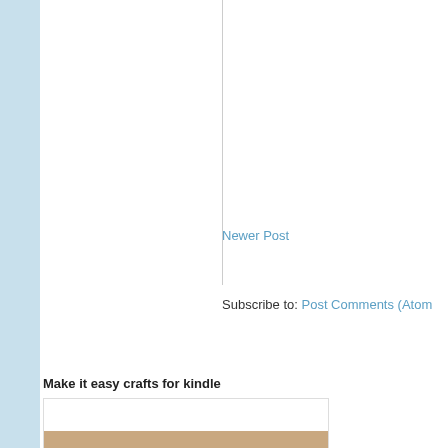Newer Post
Subscribe to: Post Comments (Atom)
Make it easy crafts for kindle
[Figure (photo): Partial image of kindle crafts content, showing a cropped photo at the bottom]